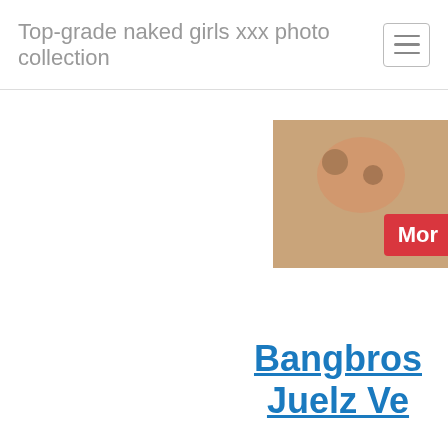Top-grade naked girls xxx photo collection
[Figure (photo): Partial photo visible at top right, cropped; a red button labeled 'Mor' overlays the bottom right of the image.]
Bangbros Juelz Ve